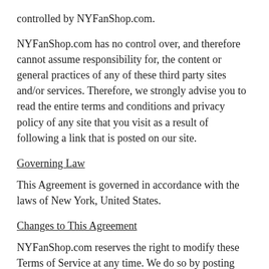controlled by NYFanShop.com.
NYFanShop.com has no control over, and therefore cannot assume responsibility for, the content or general practices of any of these third party sites and/or services. Therefore, we strongly advise you to read the entire terms and conditions and privacy policy of any site that you visit as a result of following a link that is posted on our site.
Governing Law
This Agreement is governed in accordance with the laws of New York, United States.
Changes to This Agreement
NYFanShop.com reserves the right to modify these Terms of Service at any time. We do so by posting and drawing attention to the updated terms on the Site. Your decision to continue to visit and make use of the Site after such changes have been made constitutes your formal acceptance of the new Terms of Service.